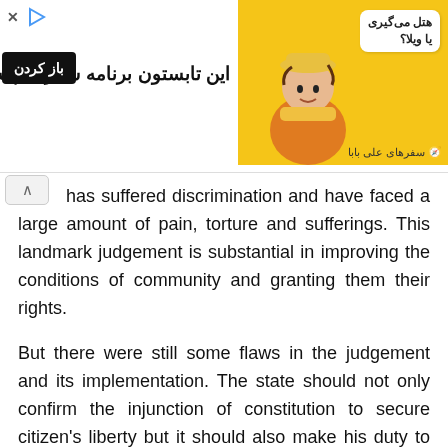[Figure (other): Advertisement banner in Persian/Farsi for travel service 'سفرهای علی بابا' (Ali Baba Travels) with yellow background, illustrated character, speech bubble asking 'هتل می‌گیری یا ویلا؟' and text 'این تابستون برنامه سفرت چیه؟' with a black button saying 'باز کردن']
has suffered discrimination and have faced a large amount of pain, torture and sufferings. This landmark judgement is substantial in improving the conditions of community and granting them their rights.
But there were still some flaws in the judgement and its implementation. The state should not only confirm the injunction of constitution to secure citizen's liberty but it should also make his duty to prevent that rights of citizens are not taken by the society. The orders like making toilet facility HIV centres, social and education recognition, public awareness programs are good only if they are implemented. Otherwise these orders are vague and possess no particular accountability on anyone. Petition